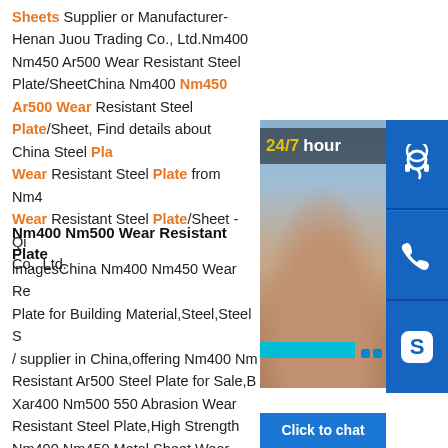Sheets Supplier or Manufacturer-Henan Juou Trading Co., Ltd.Nm400 Nm450 Ar500 Wear Resistant Steel Plate/SheetChina Nm400 Nm450 Ar500 Wear Resistant Steel Plate/Sheet, Find details about China Steel Pla Wear Resistant Steel Plate from Nm4 Wear Resistant Steel Plate/Sheet - Qi Co., Ltd.
[Figure (photo): Customer service overlay widget with a photo of a smiling woman with a headset, a '24/7 hour' badge, blue icon buttons for headset, phone, and Skype, and a 'Click to chat' bar]
Nm400 Nm500 Wear Resistant Plate
imagesChina Nm400 Nm450 Wear Re Plate for Building Material,Steel,Steel S / supplier in China,offering Nm400 Nm Resistant Ar500 Steel Plate for Sale,B Xar400 Nm500 550 Abrasion Wear Resistant Steel Plate,High Strength Nm400 Nm450 Metal Sheet Wear Resistant Steel Plate and so on.Videos of Nm450 High Strength Wear Resistant Steel Pl Watch video on Hrb450 Wear Plate High Strength Wear Resistant Steel Plate - Buy Hrb450Watch video on Wear Plates Wear Sheets